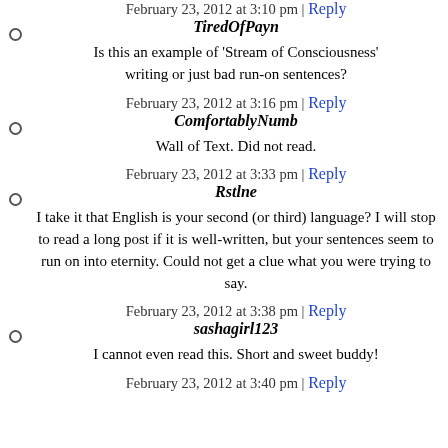February 23, 2012 at 3:10 pm | Reply
TiredOfPayn

Is this an example of 'Stream of Consciousness' writing or just bad run-on sentences?
February 23, 2012 at 3:16 pm | Reply
ComfortablyNumb

Wall of Text. Did not read.
February 23, 2012 at 3:33 pm | Reply
Rstlne

I take it that English is your second (or third) language? I will stop to read a long post if it is well-written, but your sentences seem to run on into eternity. Could not get a clue what you were trying to say.
February 23, 2012 at 3:38 pm | Reply
sashagirl123

I cannot even read this. Short and sweet buddy!
February 23, 2012 at 3:40 pm | Reply